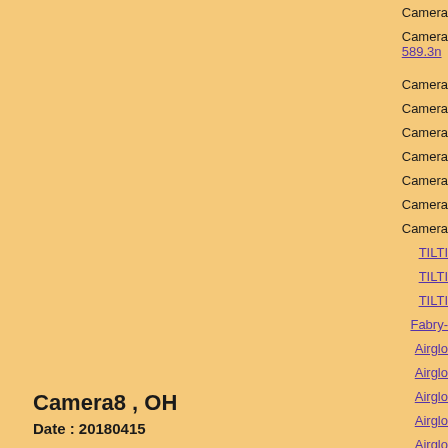Camera8 , OH
Date : 20180415
Click figure to enlarge
Camera
Camera 589.3n
Camera
Camera
Camera
Camera
Camera
Camera
Camera
TILTI
TILTI
TILTI
Fabry-
Airglo
Airglo
Airglo
Airglo
Airglo
Airglo
3-ch p
3-ch p